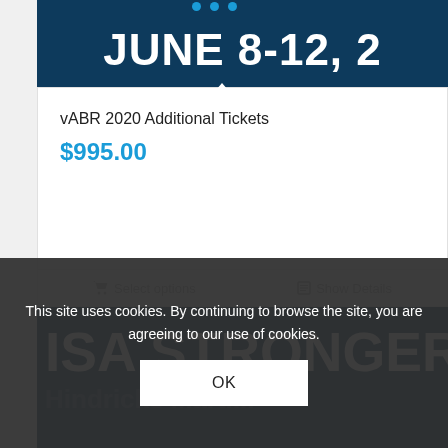[Figure (screenshot): Top dark blue banner with 'JUNE 8-12,' text in large white bold font, partially cropped on the right, with blue dots at the top]
vABR 2020 Additional Tickets
$995.00
Select options
Show Details
[Figure (screenshot): Bottom dark blue banner with 'ISA STRONGER T' text in large white bold font, partially cropped on right, with watermark-style background text]
This site uses cookies. By continuing to browse the site, you are agreeing to our use of cookies.
OK